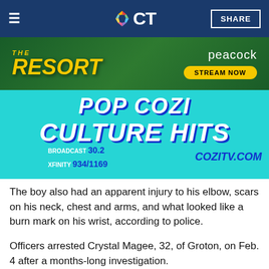NBC CT — SHARE
[Figure (advertisement): The Resort on Peacock — Stream Now advertisement banner with jungle background]
[Figure (advertisement): Cozi TV Pop Culture Hits advertisement — Broadcast 30.2, Xfinity 934/1169, cozitv.com]
The boy also had an apparent injury to his elbow, scars on his neck, chest and arms, and what looked like a burn mark on his wrist, according to police.
Officers arrested Crystal Magee, 32, of Groton, on Feb. 4 after a months-long investigation.